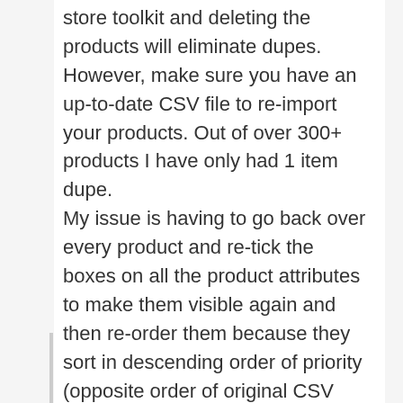store toolkit and deleting the products will eliminate dupes. However, make sure you have an up-to-date CSV file to re-import your products. Out of over 300+ products I have only had 1 item dupe.
My issue is having to go back over every product and re-tick the boxes on all the product attributes to make them visible again and then re-order them because they sort in descending order of priority (opposite order of original CSV sheet).
Reply